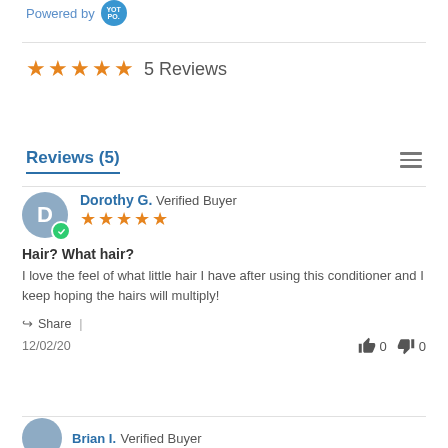Powered by YOTPO
Reviews (5)
★★★★★ 5 Reviews
Dorothy G. Verified Buyer
Hair? What hair?
I love the feel of what little hair I have after using this conditioner and I keep hoping the hairs will multiply!
Share |
12/02/20  0  0
Brian I. Verified Buyer